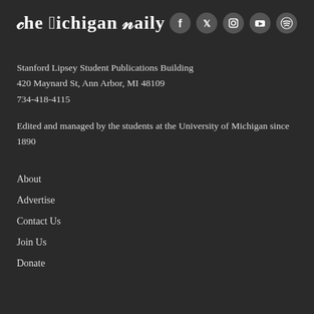[Figure (logo): The Michigan Daily masthead logo in gothic/blackletter font with social media icons (Facebook, Twitter, Instagram, YouTube, Spotify) on the right]
Stanford Lipsey Student Publications Building
420 Maynard St, Ann Arbor, MI 48109
734-418-4115
Edited and managed by the students at the University of Michigan since 1890
About
Advertise
Contact Us
Join Us
Donate